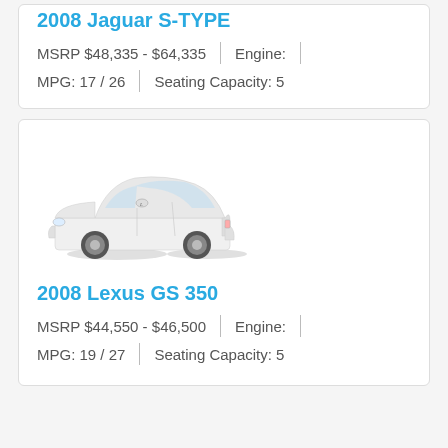2008 Jaguar S-TYPE
MSRP $48,335 - $64,335 | Engine:
MPG: 17 / 26 | Seating Capacity: 5
[Figure (photo): White Lexus GS 350 sedan, front three-quarter view]
2008 Lexus GS 350
MSRP $44,550 - $46,500 | Engine:
MPG: 19 / 27 | Seating Capacity: 5